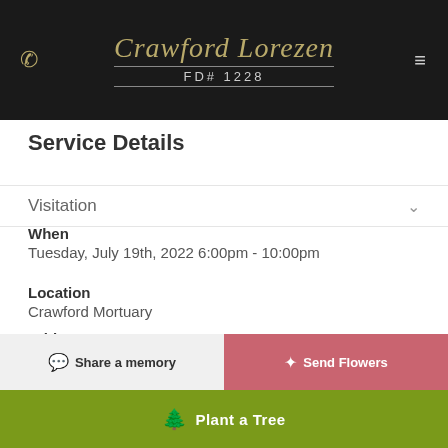Crawford Lorezen FD# 1228
Service Details
Visitation
When
Tuesday, July 19th, 2022 6:00pm - 10:00pm
Location
Crawford Mortuary
Address
8717 Tampa Ave.
NORTHRIDGE, CA
Share a memory
Send Flowers
Plant a Tree